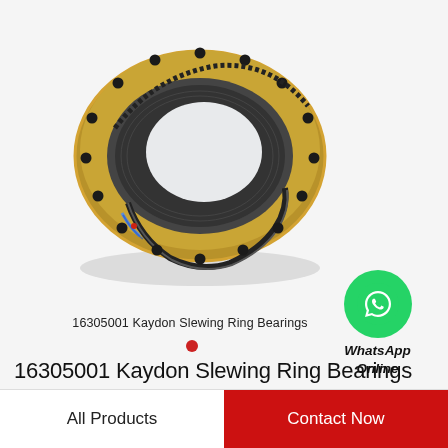[Figure (photo): A gold and steel slewing ring bearing (Kaydon 16305001) photographed at an angle showing the toothed inner race, bolt holes around the outer gold-colored ring, and rolling elements visible inside the ring.]
16305001 Kaydon Slewing Ring Bearings
[Figure (logo): WhatsApp logo — green circle with white phone handset icon, labeled 'WhatsApp Online']
16305001 Kaydon Slewing Ring Bearings
All Products
Contact Now